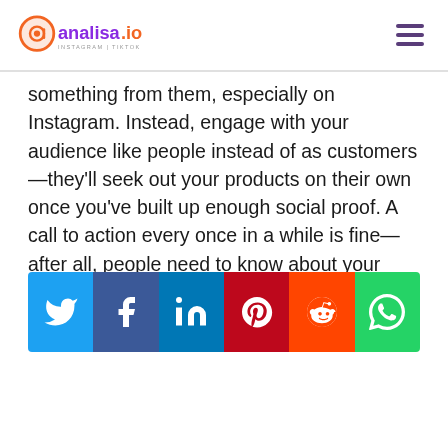analisa.io — Instagram | TikTok
something from them, especially on Instagram. Instead, engage with your audience like people instead of as customers—they'll seek out your products on their own once you've built up enough social proof. A call to action every once in a while is fine—after all, people need to know about your new products and services—but use them sparingly.
[Figure (infographic): Social media share buttons row: Twitter (blue), Facebook (dark blue), LinkedIn (blue), Pinterest (red), Reddit (orange-red), WhatsApp (green)]